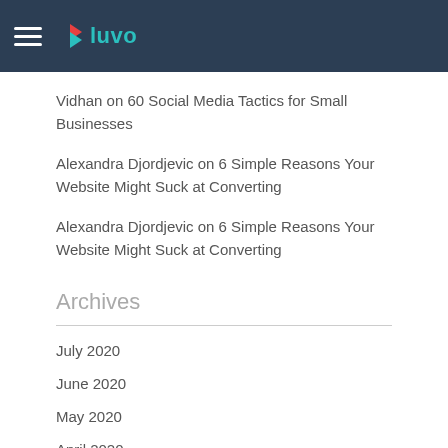luvo
Vidhan on 60 Social Media Tactics for Small Businesses
Alexandra Djordjevic on 6 Simple Reasons Your Website Might Suck at Converting
Alexandra Djordjevic on 6 Simple Reasons Your Website Might Suck at Converting
Archives
July 2020
June 2020
May 2020
April 2020